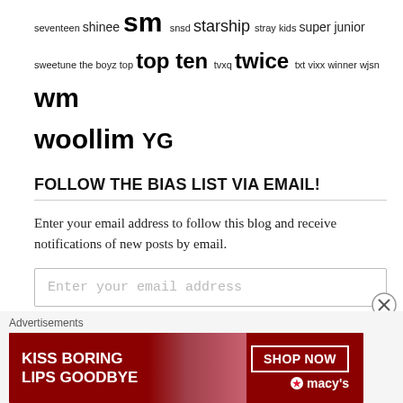seventeen shinee sm snsd starship stray kids super junior sweetune the boyz top top ten tvxq twice txt vixx winner wjsn wm woollim YG
FOLLOW THE BIAS LIST VIA EMAIL!
Enter your email address to follow this blog and receive notifications of new posts by email.
[Figure (other): Email input field with placeholder text 'Enter your email address']
[Figure (other): Follow button in light gray]
Advertisements
[Figure (other): Advertisement banner: KISS BORING LIPS GOODBYE - SHOP NOW - macys]